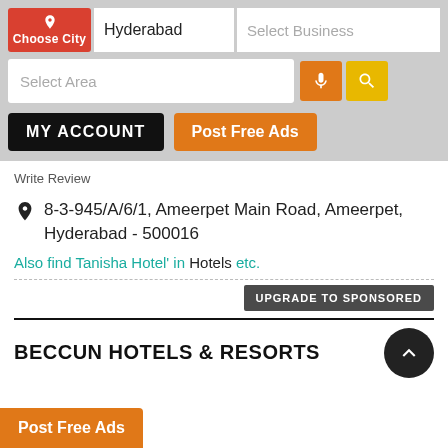[Figure (screenshot): Mobile app UI header with Choose City button, Hyderabad city input, Select Business input, Select Area input, microphone and search buttons]
MY ACCOUNT
Post Free Ads
Write Review
8-3-945/A/6/1, Ameerpet Main Road, Ameerpet, Hyderabad - 500016
Also find Tanisha Hotel' in Hotels etc.
UPGRADE TO SPONSORED
BECCUN HOTELS & RESORTS
Post Free Ads